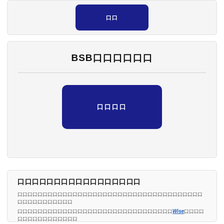[Figure (screenshot): Partially visible card with a dark blue button showing Japanese/CJK characters]
BSB□□□□□□
[Figure (screenshot): Dark blue rounded button with CJK placeholder characters inside the BSB card]
□□□□□□□□□□□□□□□□□
□□□□□□□□□□□□□□□□□□□□□□□□□□□□□□□□□□□□□□□□□□□□□□
□□□□□□□□□□□□□□□□□□□□□□□□□□□□□□□Wise□□□□□□□□□□□□□□□□
□□□□□□□□□□□□□□□□